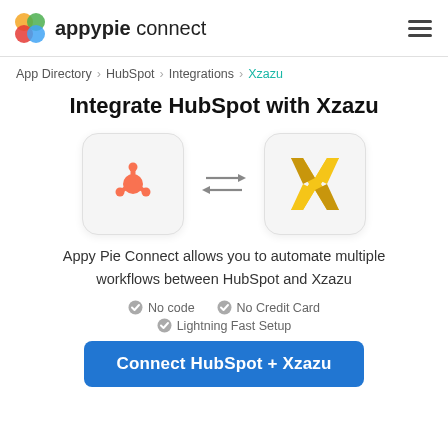appypie connect
App Directory > HubSpot > Integrations > Xzazu
Integrate HubSpot with Xzazu
[Figure (logo): HubSpot logo (orange sprocket icon) and Xzazu logo (yellow X icon) with bidirectional arrows between them]
Appy Pie Connect allows you to automate multiple workflows between HubSpot and Xzazu
✓ No code   ✓ No Credit Card
✓ Lightning Fast Setup
Connect HubSpot + Xzazu